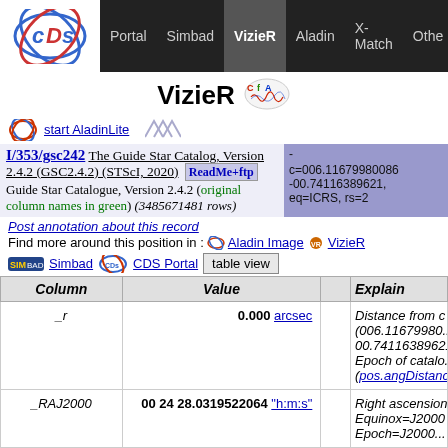Portal  Simbad  VizieR  Aladin  X-Match  Other
VizieR
start AladinLite
I/353/gsc242  The Guide Star Catalog, Version 2.4.2 (GSC2.4.2) (STScI, 2020)  ReadMe+ftp  Guide Star Catalogue, Version 2.4.2 (original column names in green) (3485671481 rows)
- c=006.11679980086 -00.74116389621, eq=ICRS, rs=2
Post annotation about this record
Find more around this position in :   Aladin Image   VizieR
Simbad   CDS Portal   table view
| Column | Value |  | Explain |
| --- | --- | --- | --- |
| _r | 0.000 arcsec |  | Distance from c (006.11679980... -00.74116389621... Epoch of catalo... (pos.angDistanc... |
| _RAJ2000 | 00 24 28.0319522064 "h:m:s" |  | Right ascension Equinox=J2000 Epoch=J2000... |